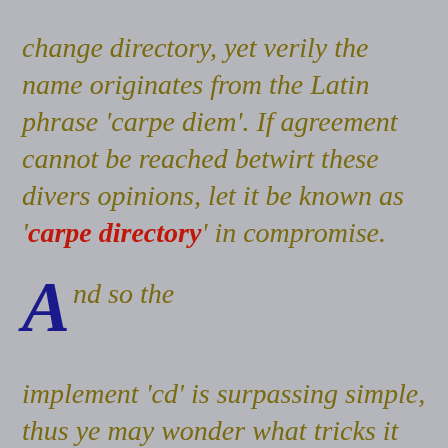change directory, yet verily the name originates from the Latin phrase 'carpe diem'. If agreement cannot be reached betwirt these divers opinions, let it be known as 'carpe directory' in compromise.
And so the implement 'cd' is surpassing simple, thus ye may wonder what tricks it may it have for us.